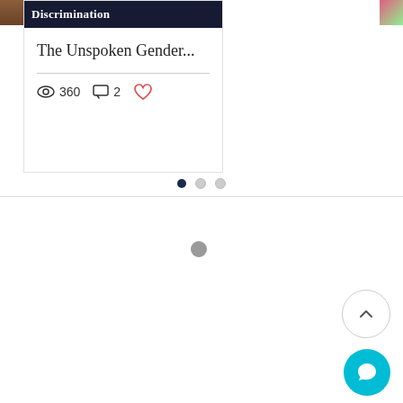[Figure (screenshot): Blog post card showing 'The Unspoken Gender...' with 360 views, 2 comments, and a heart/like icon. Card has a dark header image area with 'Discrimination' text partially visible.]
The Unspoken Gender...
360 views, 2 comments
[Figure (infographic): Pagination indicator with three dots: first dot filled dark, other two light/inactive.]
[Figure (other): Back to top arrow button (circle with upward chevron) and a teal chat bubble button at bottom right.]